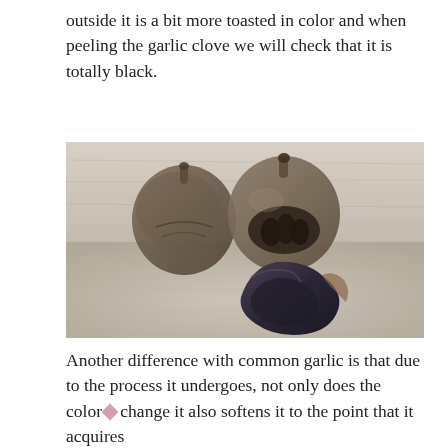outside it is a bit more toasted in color and when peeling the garlic clove we will check that it is totally black.
[Figure (photo): Photo of black garlic: two whole dark brown/black garlic bulbs in the background on a wooden surface, and a single peeled black garlic clove in the foreground showing its dark near-black interior.]
Another difference with common garlic is that due to the process it undergoes, not only does the color change it also softens it to the point that it acquires